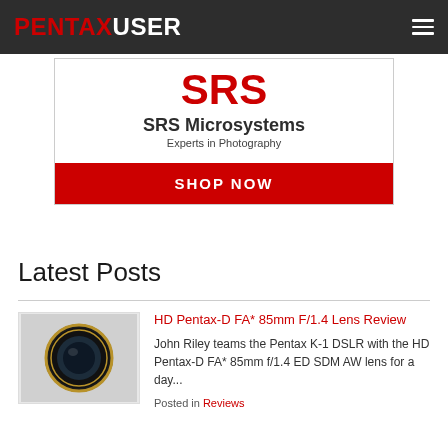PENTAXUSER
[Figure (infographic): SRS Microsystems advertisement banner with red logo letters, company name 'SRS Microsystems', tagline 'Experts in Photography', and a red 'SHOP NOW' button]
Latest Posts
[Figure (photo): Thumbnail photo of HD Pentax-D FA* 85mm f/1.4 lens, dark body with gold ring]
HD Pentax-D FA* 85mm F/1.4 Lens Review
John Riley teams the Pentax K-1 DSLR with the HD Pentax-D FA* 85mm f/1.4 ED SDM AW lens for a day...
Posted in Reviews